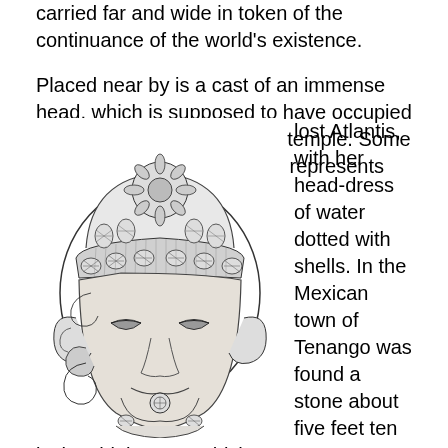carried far and wide in token of the continuance of the world's existence.
Placed near by is a cast of an immense head, which is supposed to have occupied a position in the great Aztec temple. Some archæologists believe that it represents the lost Atlantis, with her head-dress of water dotted with shells. In the Mexican town of Tenango was found a stone about five feet ten inches high, upon which
[Figure (illustration): A detailed pen-and-ink illustration of a large stone Aztec head sculpture, shown from the front-and-slightly-above angle. The head wears an elaborate headdress decorated with a large circular flower or sunburst pattern on top, and rows of shell ornaments around the band. The face has stylized features with carved scrollwork around the cheeks and chin, and circular earring ornaments. The style is archaeological line-drawing, black and white.]